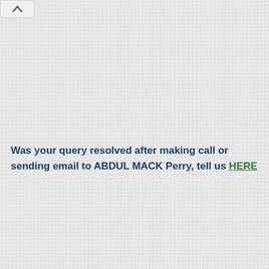[Figure (screenshot): UI collapse/accordion button with upward chevron arrow, shown as a rounded rectangle in the top-left corner]
Was your query resolved after making call or sending email to ABDUL MACK Perry, tell us HERE